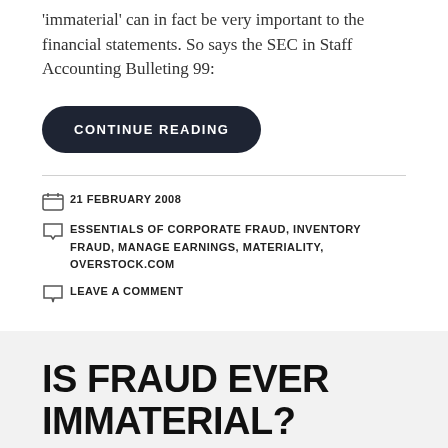'immaterial' can in fact be very important to the financial statements. So says the SEC in Staff Accounting Bulleting 99:
CONTINUE READING
21 FEBRUARY 2008
ESSENTIALS OF CORPORATE FRAUD, INVENTORY FRAUD, MANAGE EARNINGS, MATERIALITY, OVERSTOCK.COM
LEAVE A COMMENT
IS FRAUD EVER IMMATERIAL?
A search that brought someone to my blog